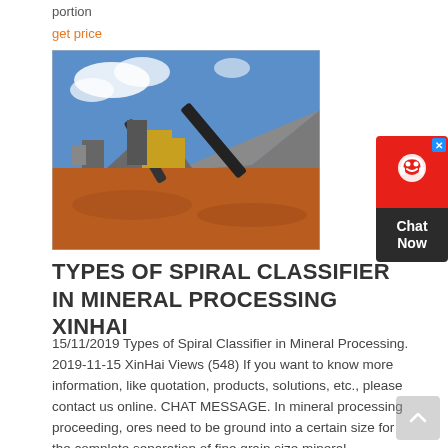portion
get price
[Figure (photo): Outdoor mining/quarrying site with large conveyor belts, industrial machinery, and a big pile of crushed rock/gravel under a blue sky with clouds.]
TYPES OF SPIRAL CLASSIFIER IN MINERAL PROCESSING XINHAI
15/11/2019 Types of Spiral Classifier in Mineral Processing. 2019-11-15 XinHai Views (548) If you want to know more information, like quotation, products, solutions, etc., please contact us online. CHAT MESSAGE. In mineral processing proceeding, ores need to be ground into a certain size for the complete separation of fine grain size mineral production and gangue.